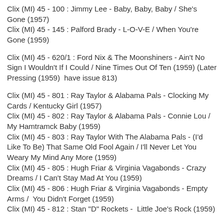Clix (MI) 45 - 100 : Jimmy Lee - Baby, Baby, Baby / She's Gone (1957)
Clix (MI) 45 - 145 : Palford Brady - L-O-V-E / When You're Gone (1959)
Clix (MI) 45 - 620/1 : Ford Nix & The Moonshiners - Ain't No Sign I Wouldn't If I Could / Nine Times Out Of Ten (1959) (Later Pressing (1959)  have issue 813)
Clix (MI) 45 - 801 : Ray Taylor & Alabama Pals - Clocking My Cards / Kentucky Girl (1957)
Clix (MI) 45 - 802 : Ray Taylor & Alabama Pals - Connie Lou / My Hamtramck Baby (1959)
Clix (MI) 45 - 803 : Ray Taylor With The Alabama Pals - (I'd Like To Be) That Same Old Fool Again / I'll Never Let You Weary My Mind Any More (1959)
Clix (MI) 45 - 805 : Hugh Friar & Virginia Vagabonds - Crazy Dreams / I Can't Stay Mad At You (1959)
Clix (MI) 45 - 806 : Hugh Friar & Virginia Vagabonds - Empty Arms /  You Didn't Forget (1959)
Clix (MI) 45 - 812 : Stan "D" Rockets -  Little Joe's Rock (1959)